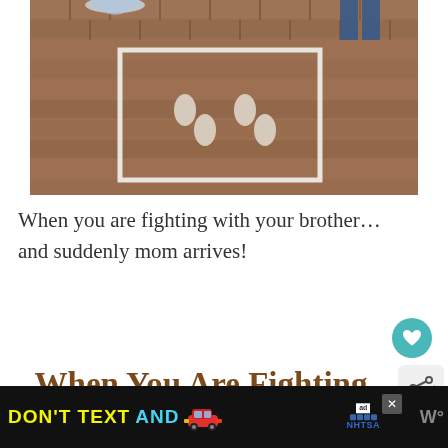[Figure (photo): Photo showing brick patio floor with white tape lines forming a rectangle and footprint shapes on the ground; partial figures visible at top edge]
When you are fighting with your brother…
and suddenly mom arrives!
[Figure (screenshot): Screenshot of a web page titled 'When You Are Fighting With Your Broth...' with a heart/save button, share icon, and a 'What's Next' panel showing '50+ Funny Valentine...']
[Figure (photo): Bottom portion shows a partial photo preview and an advertisement banner reading 'DON'T TEXT AND' with a car emoji and NHTSA ad disclosure logo]